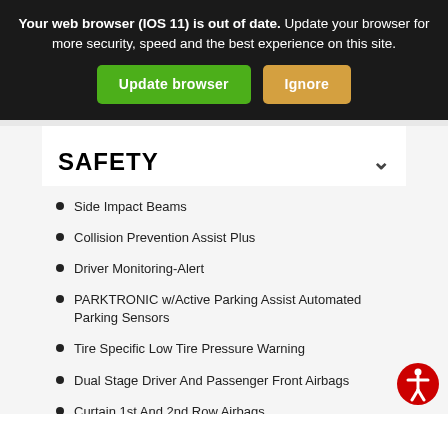Your web browser (IOS 11) is out of date. Update your browser for more security, speed and the best experience on this site. Update browser | Ignore
SAFETY
Side Impact Beams
Collision Prevention Assist Plus
Driver Monitoring-Alert
PARKTRONIC w/Active Parking Assist Automated Parking Sensors
Tire Specific Low Tire Pressure Warning
Dual Stage Driver And Passenger Front Airbags
Curtain 1st And 2nd Row Airbags
Airbag Occupancy Sensor
Driver Knee Airbag, Driver And Passenger Pelvic